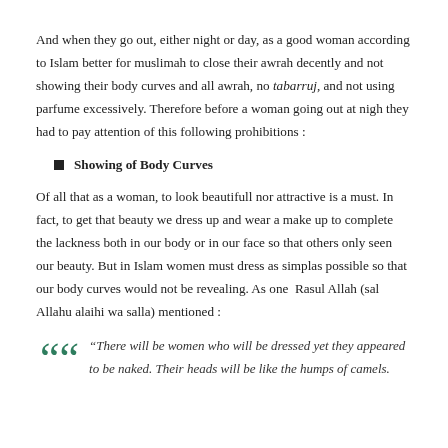And when they go out, either night or day, as a good woman according to Islam better for muslimah to close their awrah decently and not showing their body curves and all awrah, no tabarruj, and not using parfume excessively. Therefore before a woman going out at nigh they had to pay attention of this following prohibitions :
Showing of Body Curves
Of all that as a woman, to look beautifull nor attractive is a must. In fact, to get that beauty we dress up and wear a make up to complete the lackness both in our body or in our face so that others only seen our beauty. But in Islam women must dress as simplas possible so that our body curves would not be revealing. As one  Rasul Allah (sal Allahu alaihi wa salla) mentioned :
“There will be women who will be dressed yet they appeared to be naked. Their heads will be like the humps of camels.